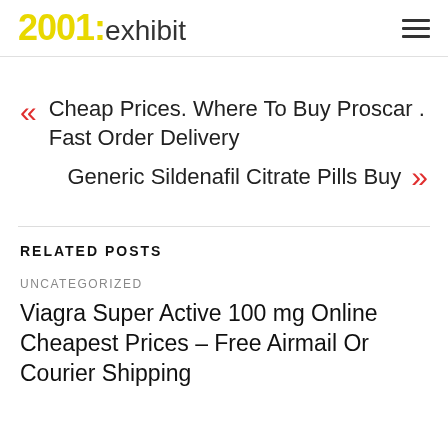2001:exhibit
« Cheap Prices. Where To Buy Proscar . Fast Order Delivery
Generic Sildenafil Citrate Pills Buy »
RELATED POSTS
UNCATEGORIZED
Viagra Super Active 100 mg Online Cheapest Prices – Free Airmail Or Courier Shipping